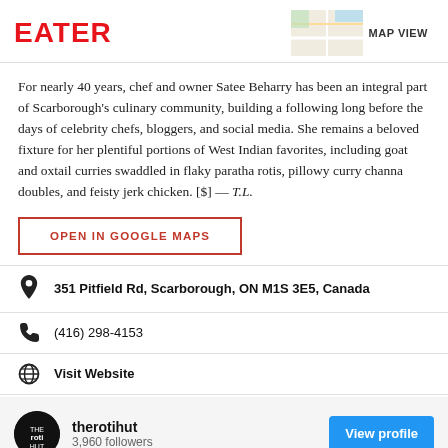EATER | MAP VIEW
For nearly 40 years, chef and owner Satee Beharry has been an integral part of Scarborough's culinary community, building a following long before the days of celebrity chefs, bloggers, and social media. She remains a beloved fixture for her plentiful portions of West Indian favorites, including goat and oxtail curries swaddled in flaky paratha rotis, pillowy curry channa doubles, and feisty jerk chicken. [$] — T.L.
OPEN IN GOOGLE MAPS
351 Pitfield Rd, Scarborough, ON M1S 3E5, Canada
(416) 298-4153
Visit Website
therotihut
3,960 followers
View profile